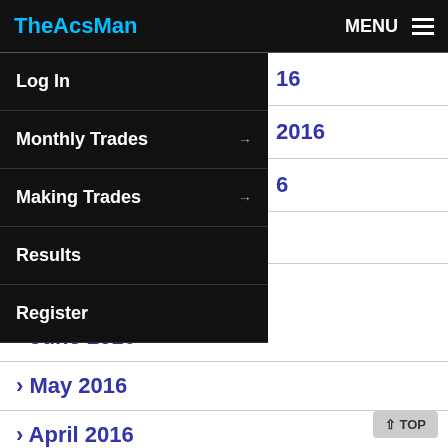TheAcsMan | MENU
Log In
Monthly Trades →
Making Trades →
Results
Register
> June 2016
> May 2016
> April 2016
> March 2016
> February 2016
> January 2016
> November 2015